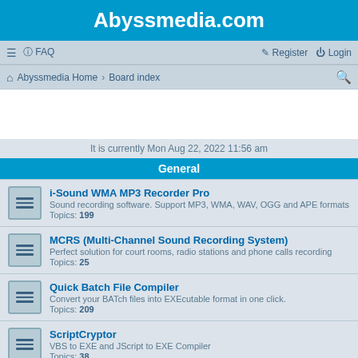Abyssmedia.com
≡  FAQ    Register  Login
Abyssmedia Home › Board index
It is currently Mon Aug 22, 2022 11:56 am
General
i-Sound WMA MP3 Recorder Pro
Sound recording software. Support MP3, WMA, WAV, OGG and APE formats
Topics: 199
MCRS (Multi-Channel Sound Recording System)
Perfect solution for court rooms, radio stations and phone calls recording
Topics: 25
Quick Batch File Compiler
Convert your BATch files into EXEcutable format in one click.
Topics: 209
ScriptCryptor
VBS to EXE and JScript to EXE Compiler
Topics: 38